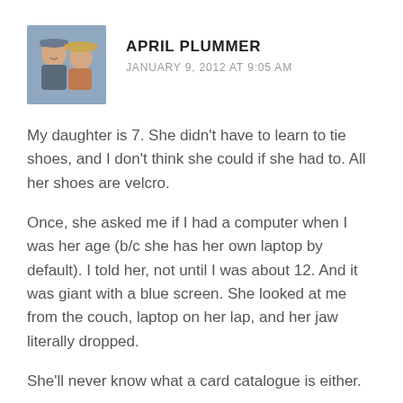APRIL PLUMMER
JANUARY 9, 2012 AT 9:05 AM
My daughter is 7. She didn't have to learn to tie shoes, and I don't think she could if she had to. All her shoes are velcro.
Once, she asked me if I had a computer when I was her age (b/c she has her own laptop by default). I told her, not until I was about 12. And it was giant with a blue screen. She looked at me from the couch, laptop on her lap, and her jaw literally dropped.
She'll never know what a card catalogue is either.
I know who Johnny Carson is, and I could make a guess at